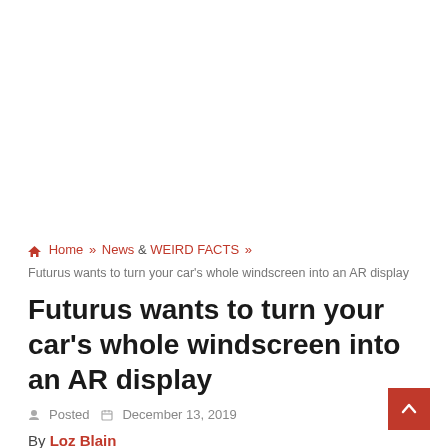[Figure (other): Advertisement / blank ad space placeholder at top of page]
Home » News & WEIRD FACTS » Futurus wants to turn your car's whole windscreen into an AR display
Futurus wants to turn your car's whole windscreen into an AR display
Posted  December 13, 2019
By Loz Blain